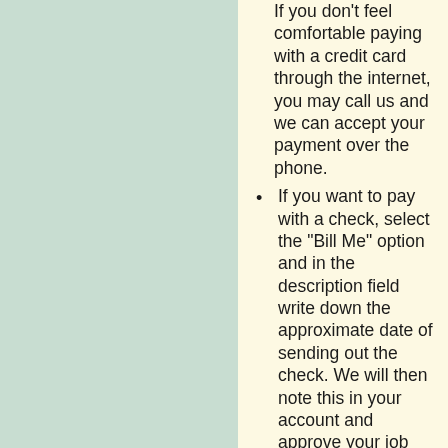If you don't feel comfortable paying with a credit card through the internet, you may call us and we can accept your payment over the phone.
If you want to pay with a check, select the "Bill Me" option and in the description field write down the approximate date of sending out the check. We will then note this in your account and approve your job posting. This is done manually and a message with your request is being sent to our administrator for approval. This may take a bit of time depending on how many jobs we have to approve per day. If you can not wait, you may also call our sales/service representative at